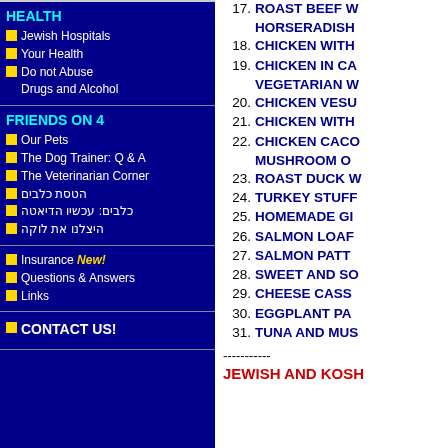HEALTH
Jewish Hospitals
Your Health
Do not Abuse Drugs and Alcohol
FRIENDS ON 4
Our Pets
The Dog Trainer: Q & A
The Veterinarian Corner
הטסת כלבים
כלבים: עכשיו הדיאטה
היצלנו את לוקה
Insurance New!
Questions & Answers
Links
CONTACT US!
17. ROAST BEEF W HORSERADISH
18. CHICKEN WITH
19. CHICKEN IN CA VEGETARIAN W
20. CHICKEN VESU
21. CHICKEN WITH
22. CHICKEN CACO MUSHROOM O
23. ROAST DUCK W
24. TURKEY STUFF
25. HOMEMADE GI
26. SALMON LOAF
27. SALMON PATT
28. SWEET AND SO
29. CHEESE CASS
30. EGGPLANT PA
31. TUNA AND MUS
-----------
JEWISH AND KOSH